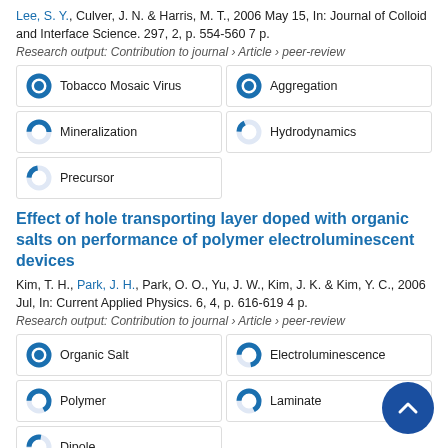Lee, S. Y., Culver, J. N. & Harris, M. T., 2006 May 15, In: Journal of Colloid and Interface Science. 297, 2, p. 554-560 7 p.
Research output: Contribution to journal › Article › peer-review
[Figure (infographic): Keyword badges with donut chart indicators: Tobacco Mosaic Virus (100%), Aggregation (100%), Mineralization (50%), Hydrodynamics (17%), Precursor (22%)]
Effect of hole transporting layer doped with organic salts on performance of polymer electroluminescent devices
Kim, T. H., Park, J. H., Park, O. O., Yu, J. W., Kim, J. K. & Kim, Y. C., 2006 Jul, In: Current Applied Physics. 6, 4, p. 616-619 4 p.
Research output: Contribution to journal › Article › peer-review
[Figure (infographic): Keyword badges with donut chart indicators: Organic Salt (100%), Electroluminescence (72%), Polymer (67%), Laminate (67%), Dipole (28%)]